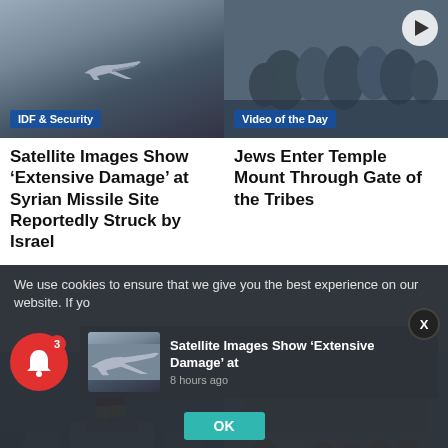[Figure (photo): Military jet aircraft (F-35) flying against blue-grey sky]
IDF & Security
Satellite Images Show ‘Extensive Damage’ at Syrian Missile Site Reportedly Struck by Israel
[Figure (photo): Crowd of people, video of the day thumbnail with play button]
Video of the Day
Jews Enter Temple Mount Through Gate of the Tribes
[Figure (photo): Reichstag building with German flags, crowd in foreground]
Germany
[Figure (photo): Group of people in orange vests posing for photo indoors]
Ukraine
We use cookies to ensure that we give you the best experience on our website. If yo
Satellite Images Show ‘Extensive Damage’ at
8 hours ago
OK